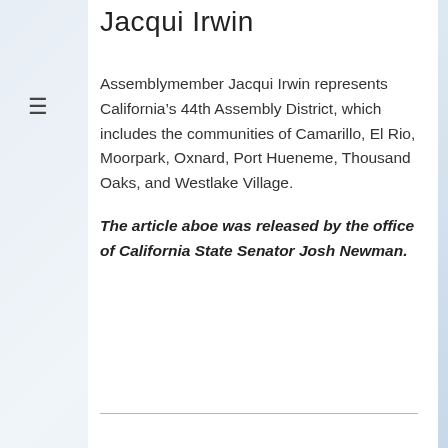Jacqui Irwin
Assemblymember Jacqui Irwin represents California’s 44th Assembly District, which includes the communities of Camarillo, El Rio, Moorpark, Oxnard, Port Hueneme, Thousand Oaks, and Westlake Village.
The article aboe was released by the office of California State Senator Josh Newman.